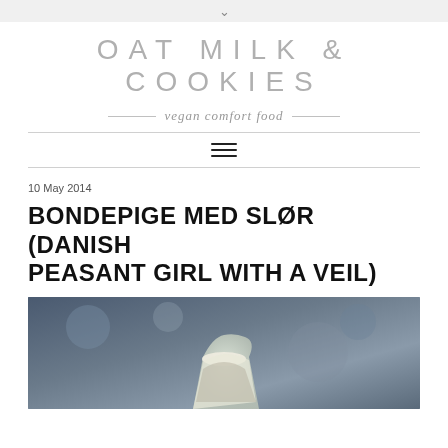v
OAT MILK & COOKIES
vegan comfort food
≡
10 May 2014
BONDEPIGE MED SLØR (DANISH PEASANT GIRL WITH A VEIL)
[Figure (photo): Photo of a dessert glass with layered cream dessert, dark blue-toned background with blurred kitchen items]